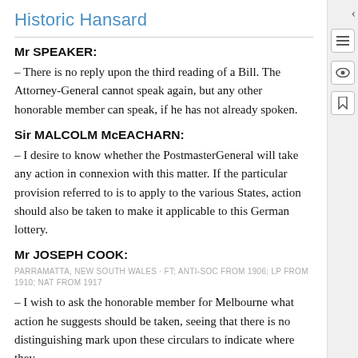Historic Hansard
Mr SPEAKER:
– There is no reply upon the third reading of a Bill. The Attorney-General cannot speak again, but any other honorable member can speak, if he has not already spoken.
Sir MALCOLM McEACHARN:
– I desire to know whether the PostmasterGeneral will take any action in connexion with this matter. If the particular provision referred to is to apply to the various States, action should also be taken to make it applicable to this German lottery.
Mr JOSEPH COOK:
PARRAMATTA, NEW SOUTH WALES · FT; ANTI-SOC from 1906; LP from 1910; NAT from 1917
– I wish to ask the honorable member for Melbourne what action he suggests should be taken, seeing that there is no distinguishing mark upon these circulars to indicate where they